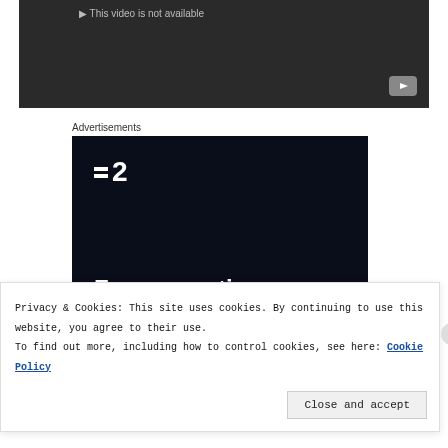[Figure (screenshot): Dark video player area showing 'This video is not available' message with YouTube button in bottom-right corner]
Advertisements
[Figure (other): Advertisement banner with dark navy background showing F2 logo and text 'Fewer meetings, more work.']
Privacy & Cookies: This site uses cookies. By continuing to use this website, you agree to their use.
To find out more, including how to control cookies, see here: Cookie Policy
Close and accept